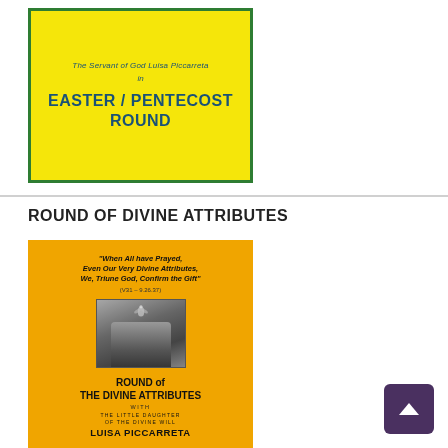[Figure (photo): Yellow book cover with green border showing 'The Servant of God Luisa Piccarreta in EASTER / PENTECOST ROUND']
ROUND OF DIVINE ATTRIBUTES
[Figure (photo): Orange/yellow book cover for 'Round of the Divine Attributes with the Little Daughter of the Divine Will Luisa Piccarreta' featuring a quote 'When All have Prayed, Even Our Very Divine Attributes, We, Triune God, Confirm the Gift' (V31 - 9.26.37) and a black and white photo of Luisa Piccarreta with a dove symbol above]